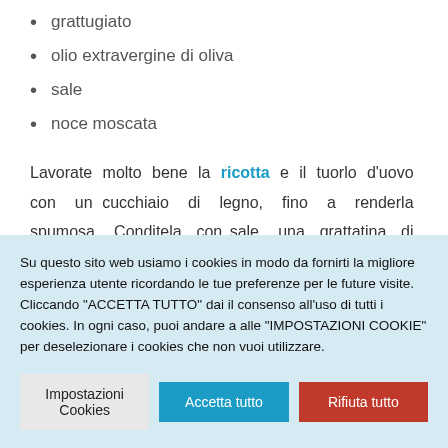grattugiato
olio extravergine di oliva
sale
noce moscata
Lavorate molto bene la ricotta e il tuorlo d'uovo con un cucchiaio di legno, fino a renderla spumosa. Conditela con sale, una grattatina di noce moscata, 60 grammi circa di Gran pecorino pugliese grattugiato e aggiungete l'olio a filo,
Su questo sito web usiamo i cookies in modo da fornirti la migliore esperienza utente ricordando le tue preferenze per le future visite. Cliccando "ACCETTA TUTTO" dai il consenso all'uso di tutti i cookies. In ogni caso, puoi andare a alle "IMPOSTAZIONI COOKIE" per deselezionare i cookies che non vuoi utilizzare.